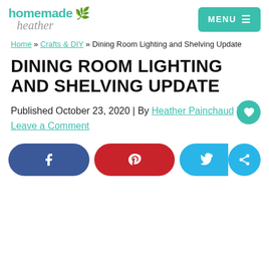homemade heather | MENU
Home » Crafts & DIY » Dining Room Lighting and Shelving Update
DINING ROOM LIGHTING AND SHELVING UPDATE
Published October 23, 2020 | By Heather Painchaud | Leave a Comment
[Figure (infographic): Social share buttons: Facebook (blue pill), Pinterest (red pill), Twitter (cyan pill), Share circle icon]